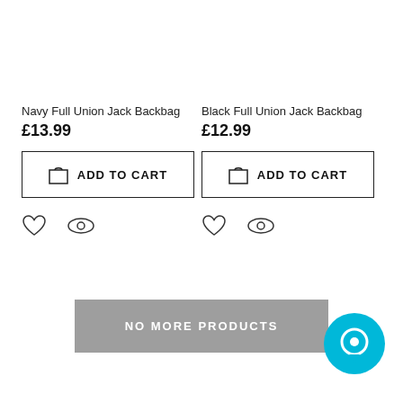Navy Full Union Jack Backbag
£13.99
ADD TO CART
Black Full Union Jack Backbag
£12.99
ADD TO CART
NO MORE PRODUCTS